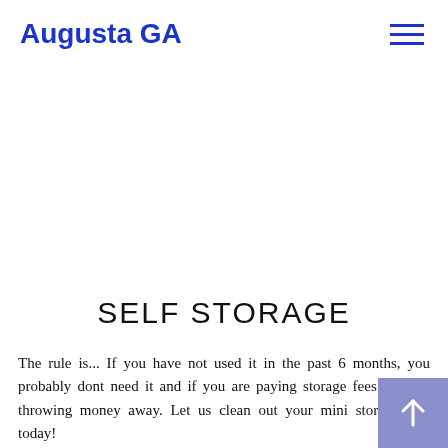Augusta GA
SELF STORAGE
The rule is... If you have not used it in the past 6 months, you probably dont need it and if you are paying storage fees you are throwing money away. Let us clean out your mini storage unit today!